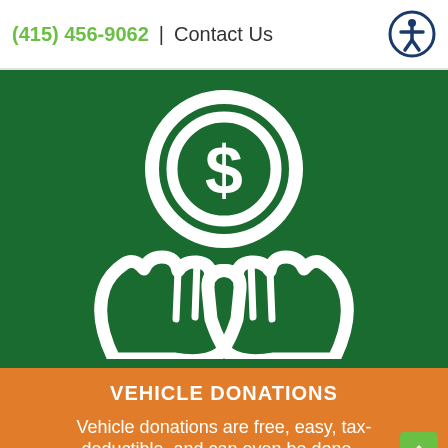(415) 456-9062  |  Contact Us
[Figure (illustration): White icon of two hands holding up a coin with a dollar sign, on a dark green background]
VEHICLE DONATIONS
Vehicle donations are free, easy, tax-deductible, and can even be done...